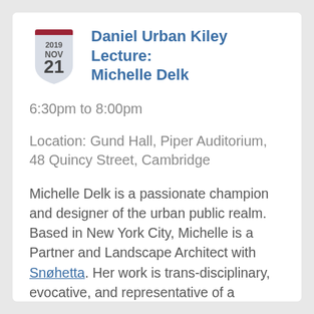Daniel Urban Kiley Lecture: Michelle Delk
6:30pm to 8:00pm
Location: Gund Hall, Piper Auditorium, 48 Quincy Street, Cambridge
Michelle Delk is a passionate champion and designer of the urban public realm. Based in New York City, Michelle is a Partner and Landscape Architect with Snøhetta. Her work is trans-disciplinary, evocative, and representative of a